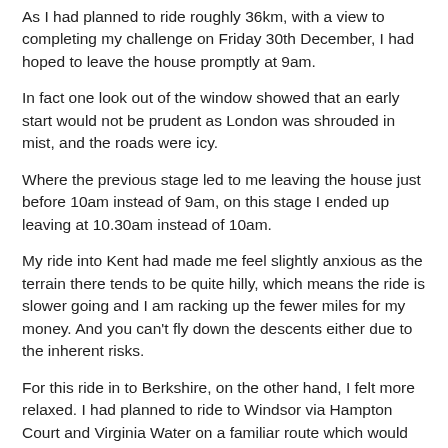As I had planned to ride roughly 36km, with a view to completing my challenge on Friday 30th December, I had hoped to leave the house promptly at 9am.
In fact one look out of the window showed that an early start would not be prudent as London was shrouded in mist, and the roads were icy.
Where the previous stage led to me leaving the house just before 10am instead of 9am, on this stage I ended up leaving at 10.30am instead of 10am.
My ride into Kent had made me feel slightly anxious as the terrain there tends to be quite hilly, which means the ride is slower going and I am racking up the fewer miles for my money. And you can't fly down the descents either due to the inherent risks.
For this ride in to Berkshire, on the other hand, I felt more relaxed. I had planned to ride to Windsor via Hampton Court and Virginia Water on a familiar route which would be mainly flat, and on suburban roads that are less likely to be icy than country lanes.